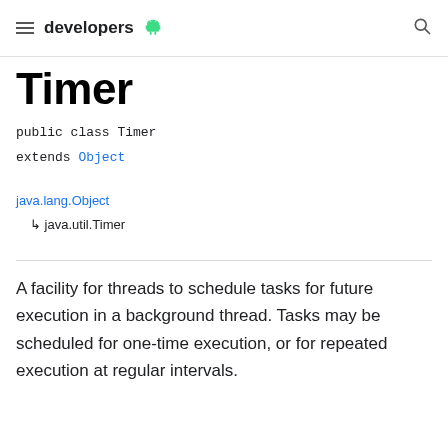developers
Timer
public class Timer
extends Object
java.lang.Object
  ↳ java.util.Timer
A facility for threads to schedule tasks for future execution in a background thread. Tasks may be scheduled for one-time execution, or for repeated execution at regular intervals.